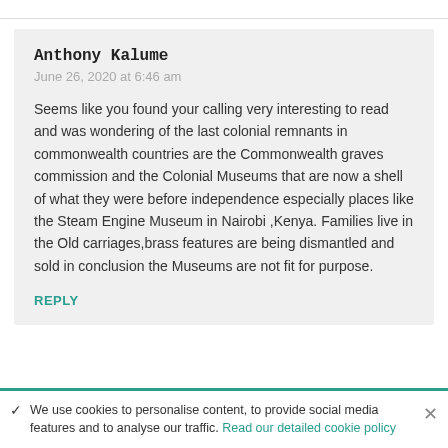Anthony Kalume
June 26, 2020 at 6:46 am
Seems like you found your calling very interesting to read and was wondering of the last colonial remnants in commonwealth countries are the Commonwealth graves commission and the Colonial Museums that are now a shell of what they were before independence especially places like the Steam Engine Museum in Nairobi ,Kenya. Families live in the Old carriages,brass features are being dismantled and sold in conclusion the Museums are not fit for purpose.
REPLY
We use cookies to personalise content, to provide social media features and to analyse our traffic. Read our detailed cookie policy